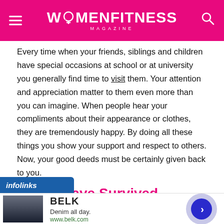WOMENFITNESS MAGAZINE
Every time when your friends, siblings and children have special occasions at school or at university you generally find time to visit them. Your attention and appreciation matter to them even more than you can imagine. When people hear your compliments about their appearance or clothes, they are tremendously happy. By doing all these things you show your support and respect to others. Now, your good deeds must be certainly given back to you.
6. You Have Survived
[Figure (screenshot): Infolinks advertisement banner with BELK brand: 'Denim all day. www.belk.com']